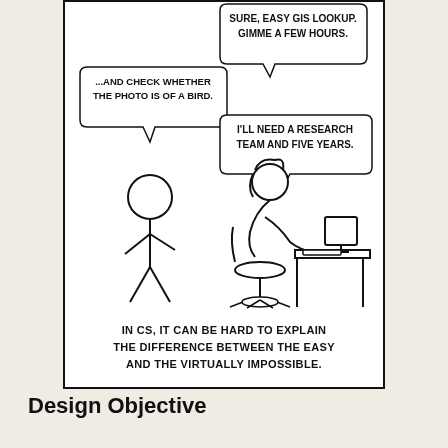[Figure (illustration): xkcd-style comic panel. Left side: a stick figure standing. Right side: a person with hair sitting at a desk with a monitor. Two speech bubbles: top right says 'SURE, EASY GIS LOOKUP. GIMME A FEW HOURS.' Top left says '...AND CHECK WHETHER THE PHOTO IS OF A BIRD.' Center right says 'I'LL NEED A RESEARCH TEAM AND FIVE YEARS.' Below the panel caption: 'IN CS, IT CAN BE HARD TO EXPLAIN THE DIFFERENCE BETWEEN THE EASY AND THE VIRTUALLY IMPOSSIBLE.']
Design Objective